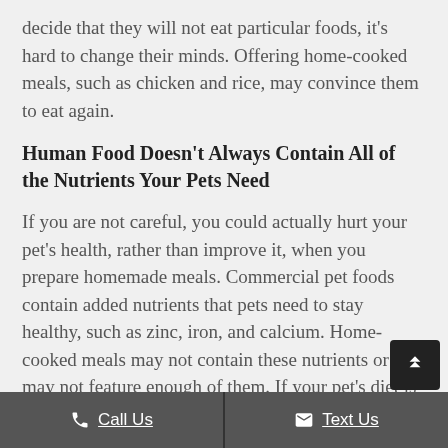decide that they will not eat particular foods, it's hard to change their minds. Offering home-cooked meals, such as chicken and rice, may convince them to eat again.
Human Food Doesn't Always Contain All of the Nutrients Your Pets Need
If you are not careful, you could actually hurt your pet's health, rather than improve it, when you prepare homemade meals. Commercial pet foods contain added nutrients that pets need to stay healthy, such as zinc, iron, and calcium. Home-cooked meals may not contain these nutrients or may not feature enough of them. If your pet's diet is lacking, the health consequences can be serious, including diseases, and co...ls